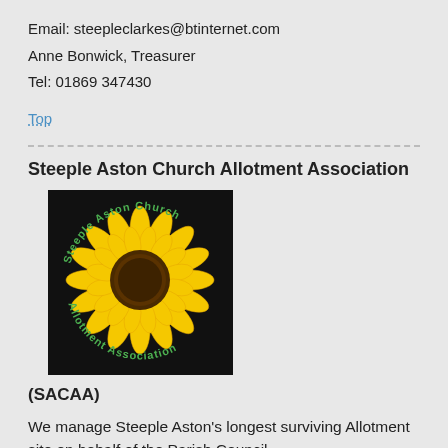Email: steepleclarkes@btinternet.com
Anne Bonwick, Treasurer
Tel: 01869 347430
Top
Steeple Aston Church Allotment Association
[Figure (logo): Circular logo of Steeple Aston Church Allotment Association featuring a sunflower on a black background with green text around the edge reading 'Steeple Aston Church' on top and 'Allotment Association' on bottom.]
(SACAA)
We manage Steeple Aston's longest surviving Allotment site on behalf of the Parish Council.